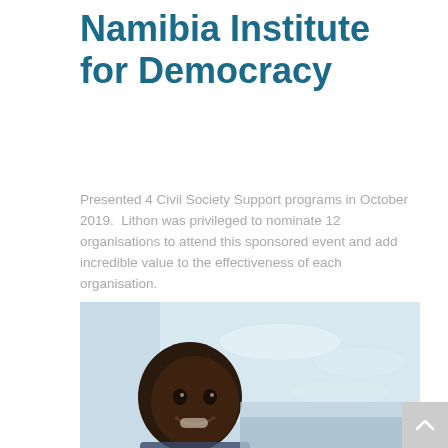Namibia Institute for Democracy
Presented 4 Civil Society Support programs in October 2019.  Lithon was privileged to nominate 12 organisations to attend this sponsored event and add incredible value to the effectiveness of each organisation.
Read More
[Figure (photo): A smiling child with a light blue sky background]